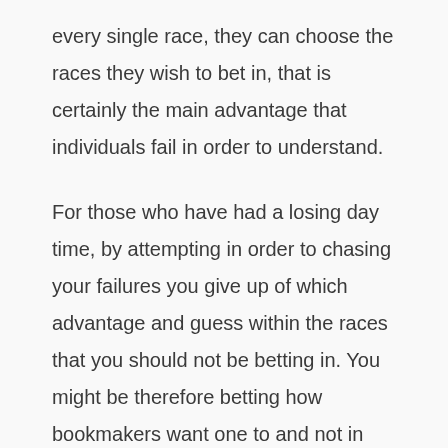every single race, they can choose the races they wish to bet in, that is certainly the main advantage that individuals fail in order to understand.

For those who have had a losing day time, by attempting in order to chasing your failures you give up of which advantage and guess within the races that you should not be betting in. You might be therefore betting how bookmakers want one to and not in the way to be able to win. Many punters will alter their very own stakes in the last race either to